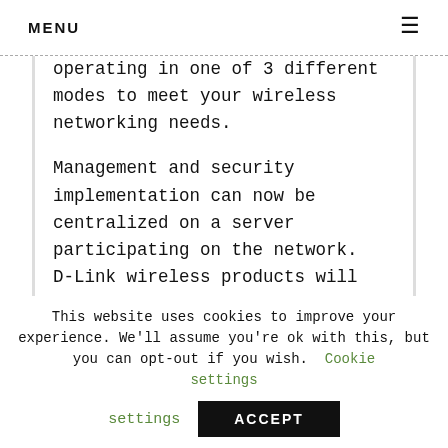MENU
operating in one of 3 different modes to meet your wireless networking needs.

Management and security implementation can now be centralized on a server participating on the network. D-Link wireless products will allow you to access the data you want, when and
This website uses cookies to improve your experience. We'll assume you're ok with this, but you can opt-out if you wish. Cookie settings ACCEPT